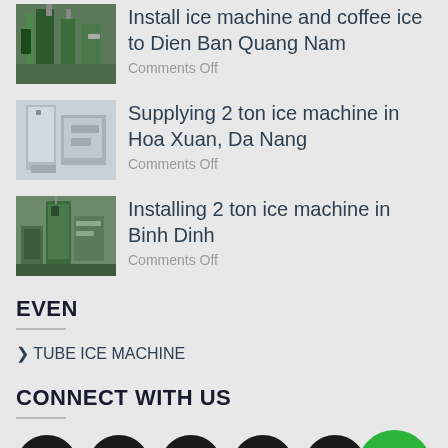Install ice machine and coffee ice to Dien Ban Quang Nam — Comments Off
Supplying 2 ton ice machine in Hoa Xuan, Da Nang — Comments Off
Installing 2 ton ice machine in Binh Dinh — Comments Off
EVEN
❯ TUBE ICE MACHINE
CONNECT WITH US
[Figure (infographic): Row of 5 social media icons (Facebook, Instagram, Twitter, Email, Pinterest) as dark circles, and a green phone button circle on the right]